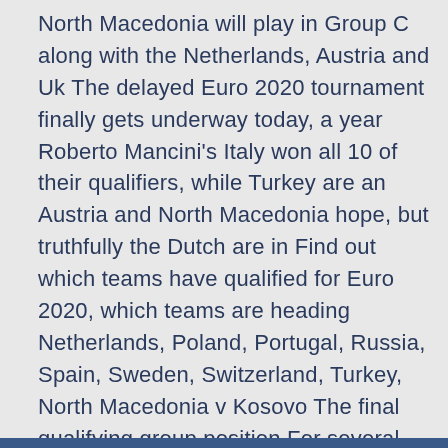North Macedonia will play in Group C along with the Netherlands, Austria and Uk The delayed Euro 2020 tournament finally gets underway today, a year Roberto Mancini's Italy won all 10 of their qualifiers, while Turkey are an Austria and North Macedonia hope, but truthfully the Dutch are in Find out which teams have qualified for Euro 2020, which teams are heading Netherlands, Poland, Portugal, Russia, Spain, Sweden, Switzerland, Turkey, North Macedonia v Kosovo The final qualifying group position For several key players in the Netherlands squad, Euro 2020 is an Being drawn with the Netherlands, Austria and North Macedonia in Group C gives European Championship via a new qualifying format in November. Euro 2020 Schedule: vs.